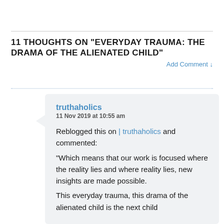11 THOUGHTS ON “EVERYDAY TRAUMA: THE DRAMA OF THE ALIENATED CHILD”
Add Comment ↓
truthaholics
11 Nov 2019 at 10:55 am

Reblogged this on | truthaholics and commented:
“Which means that our work is focused where the reality lies and where reality lies, new insights are made possible.
This everyday trauma, this drama of the alienated child is the next child